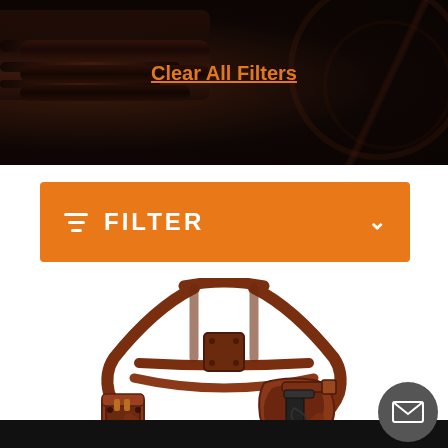[Figure (screenshot): Dark hero banner with gun barrels and leather background texture, showing an e-commerce header]
Clear All Filters
[Figure (other): Orange filter bar with funnel/filter icon on left, 'FILTER' text in white, and chevron dropdown arrow on right]
[Figure (photo): Brown leather shoulder holster rig with straps, gun holster on right side and magazine pouch on left side, shown on white background]
[Figure (other): Dark circular mail/contact button in bottom right corner]